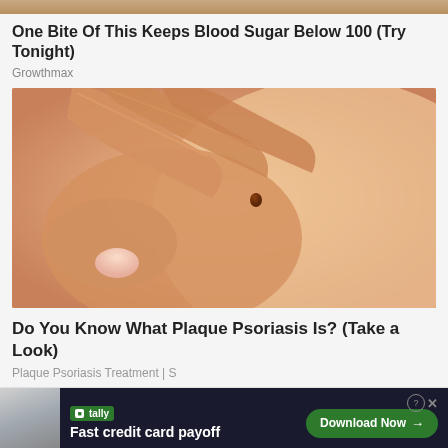[Figure (photo): Partial top strip of a photo, cropped at the top of the page]
One Bite Of This Keeps Blood Sugar Below 100 (Try Tonight)
Growthmax
[Figure (photo): Close-up photo of a person's hand touching skin with a mole visible]
Do You Know What Plaque Psoriasis Is? (Take a Look)
Plaque Psoriasis Treatment | S
[Figure (photo): Partial bottom thumbnail image strip]
tally
Fast credit card payoff
Download Now →